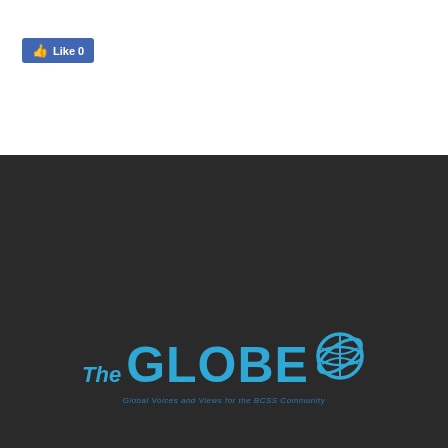[Figure (other): Facebook Like button showing thumbs up icon and 'Like 0' text on blue background]
[Figure (logo): The Globe logo — large blue bold text 'The GLOBE' with a globe/ring icon to the right, tagline 'Global Voices and Views for the BCSS Community' below]
ABOUT US
About The Globe
Staff
Jobs
Issue PDFs